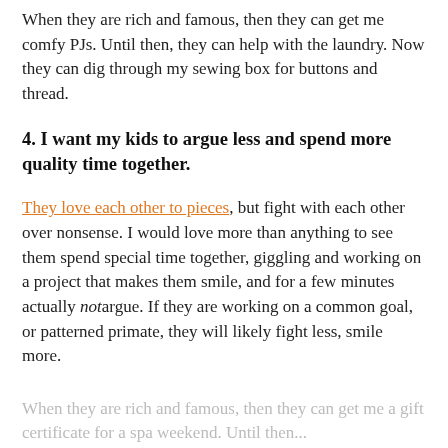When they are rich and famous, then they can get me comfy PJs. Until then, they can help with the laundry. Now they can dig through my sewing box for buttons and thread.
4. I want my kids to argue less and spend more quality time together.
They love each other to pieces, but fight with each other over nonsense. I would love more than anything to see them spend special time together, giggling and working on a project that makes them smile, and for a few minutes actually not argue. If they are working on a common goal, or patterned primate, they will likely fight less, smile more.
When they are rich and famous, then they can get me a gift certificate for a spa weekend. Until then...